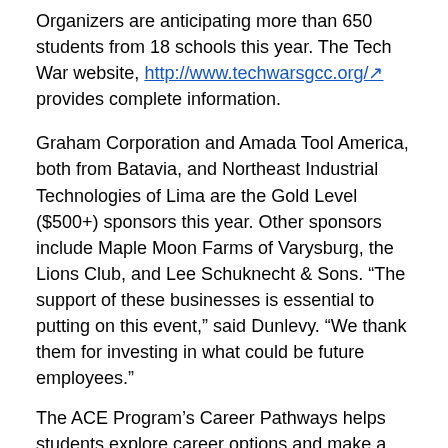Organizers are anticipating more than 650 students from 18 schools this year. The Tech War website, http://www.techwarsgcc.org/ provides complete information.
Graham Corporation and Amada Tool America, both from Batavia, and Northeast Industrial Technologies of Lima are the Gold Level ($500+) sponsors this year. Other sponsors include Maple Moon Farms of Varysburg, the Lions Club, and Lee Schuknecht & Sons. “The support of these businesses is essential to putting on this event,” said Dunlevy. “We thank them for investing in what could be future employees.”
The ACE Program’s Career Pathways helps students explore career options and make a smooth transition from high school to college and ultimately to professional careers. Tech Wars is among several dynamic programs giving students the opportunity to learn hands-on, often in business settings and with industry professionals.
For more information, please contact Debbie Dunlevy, Genesee Community College Career Pathways program director at 585-343-